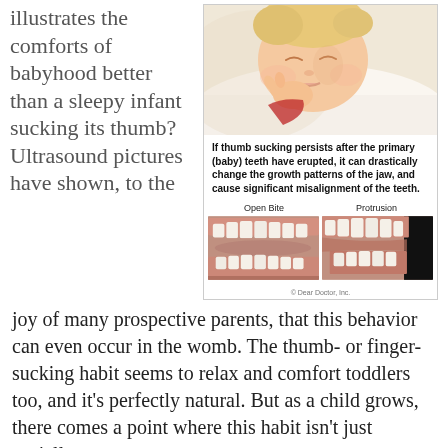illustrates the comforts of babyhood better than a sleepy infant sucking its thumb? Ultrasound pictures have shown, to the
[Figure (illustration): Medical educational infographic showing a sleeping baby at the top, followed by bold text warning about thumb sucking effects on teeth, and two dental photographs showing 'Open Bite' and 'Protrusion' dental conditions. Credit: Dear Doctor, Inc.]
joy of many prospective parents, that this behavior can even occur in the womb. The thumb- or finger-sucking habit seems to relax and comfort toddlers too, and it's perfectly natural. But as a child grows, there comes a point where this habit isn't just socially